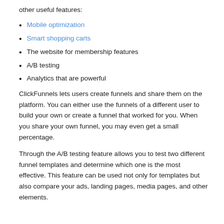other useful features:
Mobile optimization
Smart shopping carts
The website for membership features
A/B testing
Analytics that are powerful
ClickFunnels lets users create funnels and share them on the platform. You can either use the funnels of a different user to build your own or create a funnel that worked for you. When you share your own funnel, you may even get a small percentage.
Through the A/B testing feature allows you to test two different funnel templates and determine which one is the most effective. This feature can be used not only for templates but also compare your ads, landing pages, media pages, and other elements.